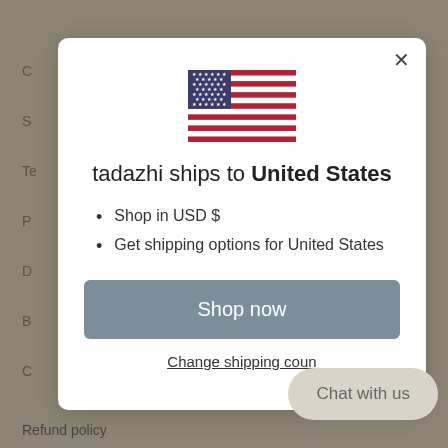[Figure (screenshot): Modal popup dialog on a website showing a US flag, shipping destination message, list items, and a shop now button]
tadazhi ships to United States
Shop in USD $
Get shipping options for United States
Shop now
Change shipping country
Chat with us
Refund policy